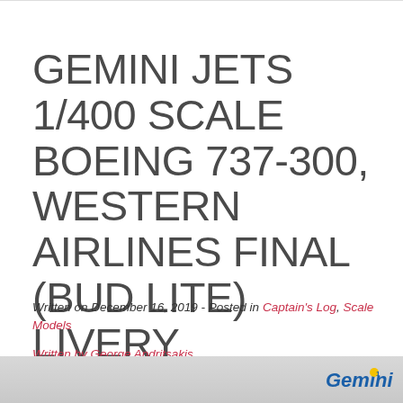GEMINI JETS 1/400 SCALE BOEING 737-300, WESTERN AIRLINES FINAL (BUD LITE) LIVERY
Written on December 16, 2019 - Posted in Captain's Log, Scale Models
Written by George Andritsakis
[Figure (photo): Partial image of a Gemini Jets scale model aircraft, showing the bottom portion with Gemini logo visible at bottom right]